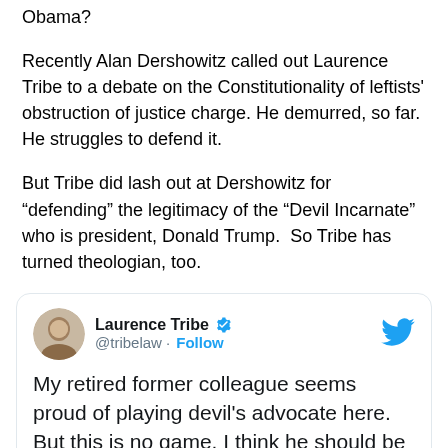Obama?
Recently Alan Dershowitz called out Laurence Tribe to a debate on the Constitutionality of leftists' obstruction of justice charge. He demurred, so far. He struggles to defend it.
But Tribe did lash out at Dershowitz for “defending” the legitimacy of the “Devil Incarnate” who is president, Donald Trump.  So Tribe has turned theologian, too.
[Figure (screenshot): Tweet from Laurence Tribe (@tribelaw) with Follow button and Twitter bird logo. Tweet text: 'My retired former colleague seems proud of playing devil’s advocate here. But this is no game. I think he should be deeply ashamed of helping legitimate the closest thing we have to the Devil Incarnate with']